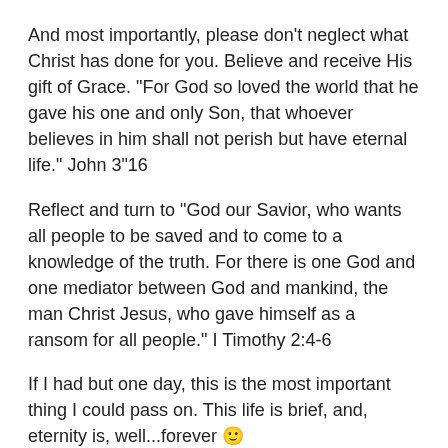And most importantly, please don't neglect what Christ has done for you.  Believe and receive His gift of Grace.  “For God so loved the world that he gave his one and only Son, that whoever believes in him shall not perish but have eternal life.” John 3“16
Reflect and turn to “God our Savior, who wants all people to be saved and to come to a knowledge of the truth. For there is one God and one mediator between God and mankind, the man Christ Jesus, who gave himself as a ransom for all people.”  I Timothy 2:4-6
If I had but one day, this is the most important thing I could pass on. This life is brief, and, eternity is, well...forever 🙂
So, today, choose your eternity, by choosing Christ.